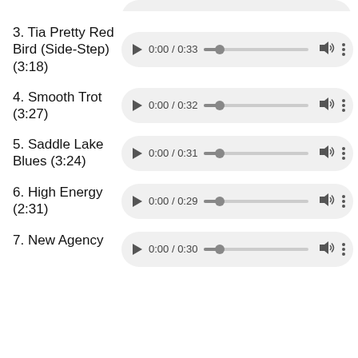3. Tia Pretty Red Bird (Side-Step) (3:18)
4. Smooth Trot (3:27)
5. Saddle Lake Blues (3:24)
6. High Energy (2:31)
7. New Agency